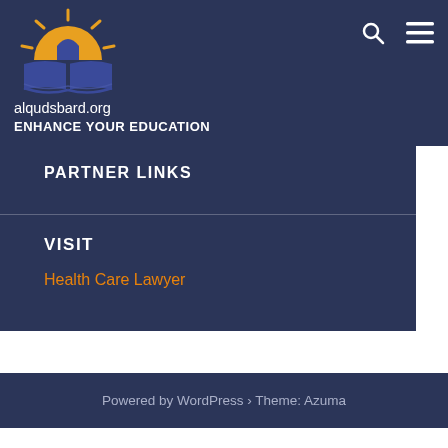[Figure (logo): alqudsbard.org logo: sun with rays above a book with open pages, orange and blue/purple colors]
alqudsbard.org
ENHANCE YOUR EDUCATION
PARTNER LINKS
VISIT
Health Care Lawyer
Powered by WordPress › Theme: Azuma